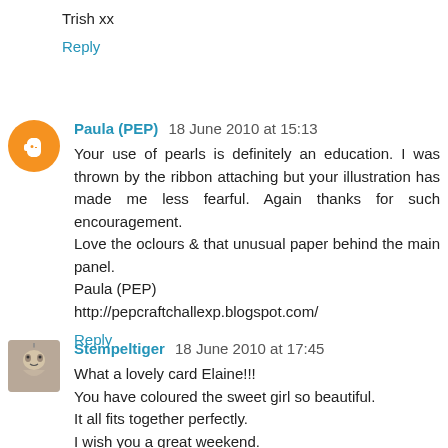Trish xx
Reply
Paula (PEP) 18 June 2010 at 15:13
Your use of pearls is definitely an education. I was thrown by the ribbon attaching but your illustration has made me less fearful. Again thanks for such encouragement.
Love the oclours & that unusual paper behind the main panel.
Paula (PEP)
http://pepcraftchallexp.blogspot.com/
Reply
Stempeltiger 18 June 2010 at 17:45
What a lovely card Elaine!!!
You have coloured the sweet girl so beautiful.
It all fits together perfectly.
I wish you a great weekend.
Lots of hugs from Swantje.